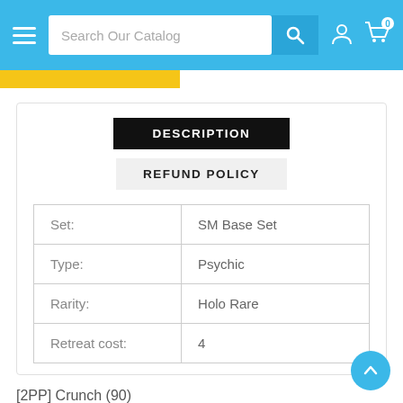Search Our Catalog
DESCRIPTION
REFUND POLICY
|  |  |
| --- | --- |
| Set: | SM Base Set |
| Type: | Psychic |
| Rarity: | Holo Rare |
| Retreat cost: | 4 |
[2PP] Crunch (90)